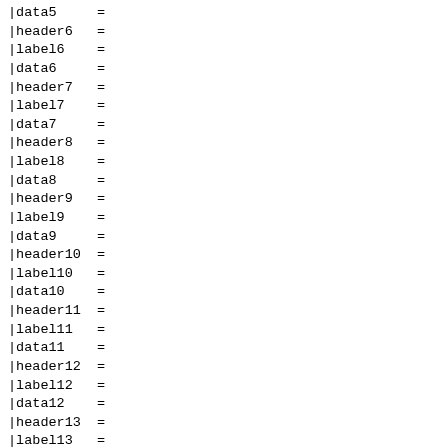|data5     =
|header6   =
|label6    =
|data6     =
|header7   =
|label7    =
|data7     =
|header8   =
|label8    =
|data8     =
|header9   =
|label9    =
|data9     =
|header10  =
|label10   =
|data10    =
|header11  =
|label11   =
|data11    =
|header12  =
|label12   =
|data12    =
|header13  =
|label13   =
|data13    =
|header14  =
|label14   =
|data14    =
|header15  =
|label15   =